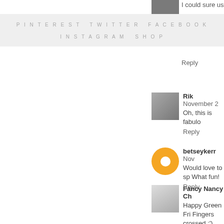PINTEREST   TWITTER   FACEBOOK   INSTAGRAM   SHOP
I could sure use
Reply
Rik November 2
Oh, this is fabulo
Reply
betseykerr Nov
Would love to sp What fun!
Reply
Fancy Nancy Ch
Happy Green Fri Fingers crossed ;')
Reply
Kathy Novembe
such gorgeous p
Reply